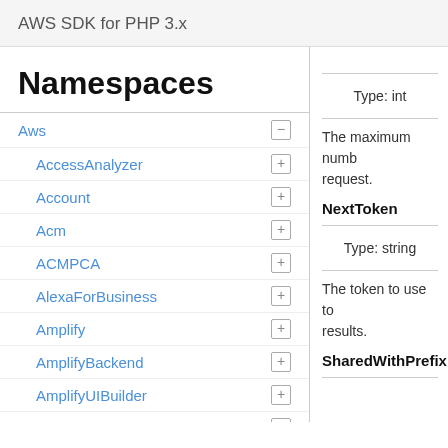AWS SDK for PHP 3.x
Namespaces
Aws
AccessAnalyzer
Account
Acm
ACMPCA
AlexaForBusiness
Amplify
AmplifyBackend
AmplifyUIBuilder
Api
ApiGateway
ApiGatewayManagementApi
Type: int
The maximum numb… request.
NextToken
Type: string
The token to use to… results.
SharedWithPrefix